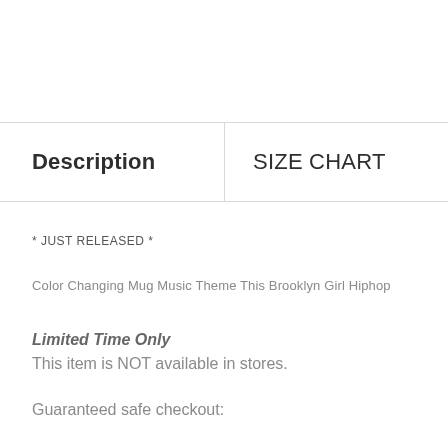| Description | SIZE CHART |
| --- | --- |
* JUST RELEASED *
Color Changing Mug Music Theme This Brooklyn Girl Hiphop
Limited Time Only
This item is NOT available in stores.
Guaranteed safe checkout: